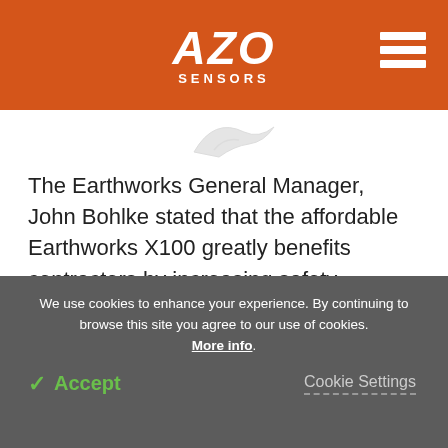AZO SENSORS
[Figure (illustration): Partial image of a device or object visible at the top of the content area]
The Earthworks General Manager, John Bohlke stated that the affordable Earthworks X100 greatly benefits contractors by increasing safety standards, eliminating rework and increasing productivity whereby contractors can bid on jobs with more confidence and reap profits.
We use cookies to enhance your experience. By continuing to browse this site you agree to our use of cookies. More info.
✓ Accept
Cookie Settings